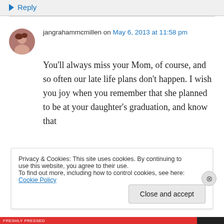↳ Reply
jangrahammcmillen on May 6, 2013 at 11:58 pm
You'll always miss your Mom, of course, and so often our late life plans don't happen. I wish you joy when you remember that she planned to be at your daughter's graduation, and know that
Privacy & Cookies: This site uses cookies. By continuing to use this website, you agree to their use.
To find out more, including how to control cookies, see here: Cookie Policy
Close and accept